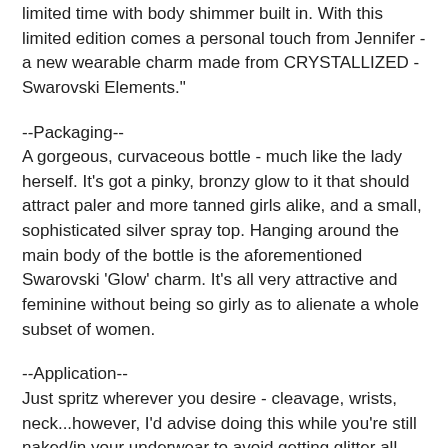limited time with body shimmer built in. With this limited edition comes a personal touch from Jennifer - a new wearable charm made from CRYSTALLIZED - Swarovski Elements."
--Packaging--
A gorgeous, curvaceous bottle - much like the lady herself. It's got a pinky, bronzy glow to it that should attract paler and more tanned girls alike, and a small, sophisticated silver spray top. Hanging around the main body of the bottle is the aforementioned Swarovski 'Glow' charm. It's all very attractive and feminine without being so girly as to alienate a whole subset of women.
--Application--
Just spritz wherever you desire - cleavage, wrists, neck...however, I'd advise doing this while you're still naked/in your underwear to avoid getting glitter all over your clothes.
--Appearance--
Unlike most perfumes, this leaves a beautiful subtle bronze